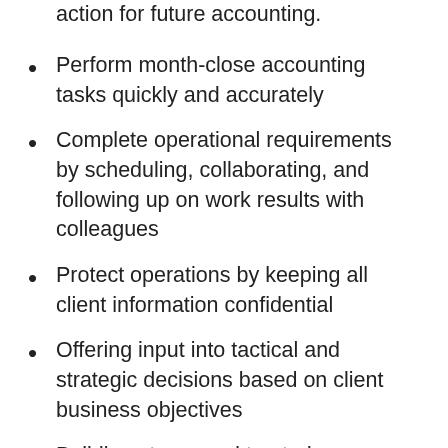action for future accounting.
Perform month-close accounting tasks quickly and accurately
Complete operational requirements by scheduling, collaborating, and following up on work results with colleagues
Protect operations by keeping all client information confidential
Offering input into tactical and strategic decisions based on client business objectives
Building strong and trusted relationships with your clients
Collaborating with teams to establish efficient processes that keep us operating at peak levels your expertise grows with each new client and industry
Working together with a team of first-class